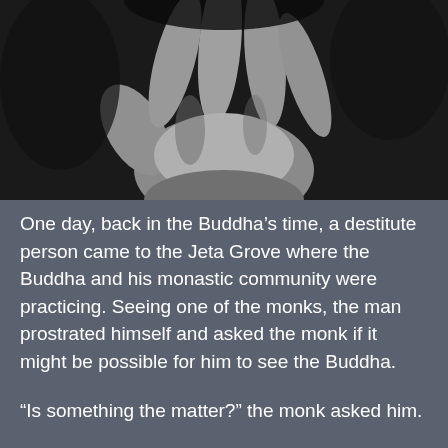[Figure (photo): Black and white photograph of an open human hand with fingers spread, palm facing viewer, against a dark background]
One day, back in the Buddha’s time, a destitute person came to the Jeta Grove where the Buddha and his monastic community were practicing. Seeing one of the monks, the man prostrated himself and asked the monk if it might be possible for him to see the Buddha.
“Is something the matter?” the monk asked him.
“Yes, there is a grave matter I need to see the Buddha about. It is a life or death issue.” This was